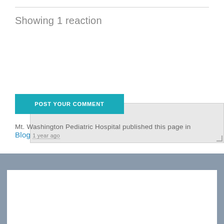Showing 1 reaction
POST YOUR COMMENT
Review the site rules
Mt. Washington Pediatric Hospital published this page in Blog 1 year ago